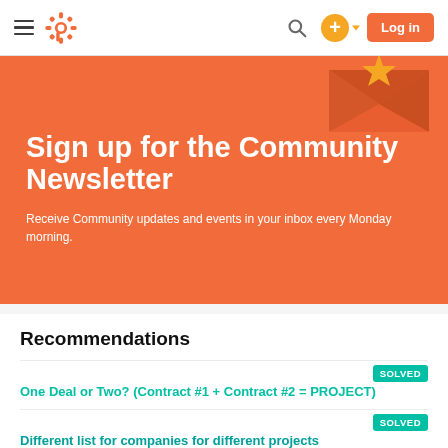HubSpot Community navigation bar with hamburger menu, logo, search, add button, and Log in button
Sign up for the Community Newsletter
Receive Community updates and events in your inbox every Monday morning.
Recommendations
SOLVED
One Deal or Two? (Contract #1 + Contract #2 = PROJECT)
SOLVED
Different list for companies for different projects